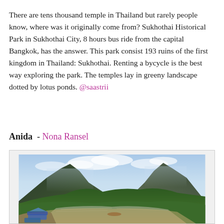There are tens thousand temple in Thailand but rarely people know, where was it originally come from? Sukhothai Historical Park in Sukhothai City, 8 hours bus ride from the capital Bangkok, has the answer. This park consist 193 ruins of the first kingdom in Thailand: Sukhothai. Renting a bycycle is the best way exploring the park. The temples lay in greeny landscape dotted by lotus ponds. @saastrii
Anida  - Nona Ransel
[Figure (photo): A scenic river landscape with misty mountains, green jungle vegetation, and boats moored at the riverbank in the foreground.]